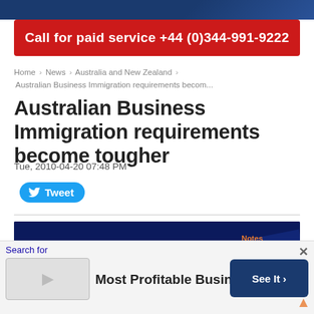Call for paid service +44 (0)344-991-9222
Home > News > Australia and New Zealand > Australian Business Immigration requirements becom...
Australian Business Immigration requirements become tougher
Tue, 2010-04-20 07:48 PM
Tweet
[Figure (photo): Photo of Sydney Opera House at night with dark blue background, with 'Notes for Hobb' watermark in orange text at top right corner]
Search for
Most Profitable Business
See It >